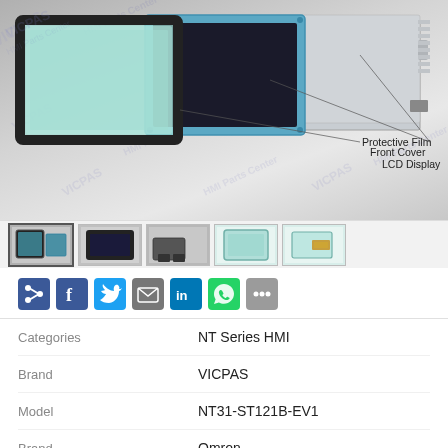[Figure (photo): Product photo showing HMI touch panel components: Protective Film, Front Cover, LCD Display, layered and fanned out. Multiple thumbnail images shown below the main image.]
[Figure (infographic): Social sharing buttons: Share, Facebook, Twitter, Email, LinkedIn, WhatsApp, More]
| Attribute | Value |
| --- | --- |
| Categories | NT Series HMI |
| Brand | VICPAS |
| Model | NT31-ST121B-EV1 |
| Brand | Omron |